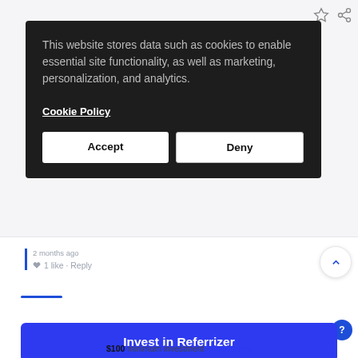[Figure (screenshot): Cookie consent overlay on a webpage. Dark background panel with text: 'This website stores data such as cookies to enable essential site functionality, as well as marketing, personalization, and analytics.' followed by 'Cookie Policy' link and 'Accept' / 'Deny' buttons. Behind the overlay, partial text is visible on the right side mentioning 'Currently, Metaverse, to connect, ition, NFT's, hile, (loyalty,' along with star and share icons at top right.]
2 months ago
1 like · Reply
[Figure (screenshot): Bottom section of webpage showing a blue rounded button labeled 'Invest in Referrizer', below which is text '$100 minimum investment · Deal terms' with 'Deal terms' in blue hyperlink style. A circular help button with '?' is visible at top right of this section.]